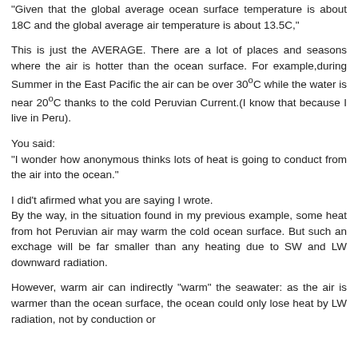"Given that the global average ocean surface temperature is about 18C and the global average air temperature is about 13.5C,"
This is just the AVERAGE. There are a lot of places and seasons where the air is hotter than the ocean surface. For example,during Summer in the East Pacific the air can be over 30ºC while the water is near 20ºC thanks to the cold Peruvian Current.(I know that because I live in Peru).
You said:
"I wonder how anonymous thinks lots of heat is going to conduct from the air into the ocean."
I did't afirmed what you are saying I wrote.
By the way, in the situation found in my previous example, some heat from hot Peruvian air may warm the cold ocean surface. But such an exchage will be far smaller than any heating due to SW and LW downward radiation.
However, warm air can indirectly "warm" the seawater: as the air is warmer than the ocean surface, the ocean could only lose heat by LW radiation, not by conduction or